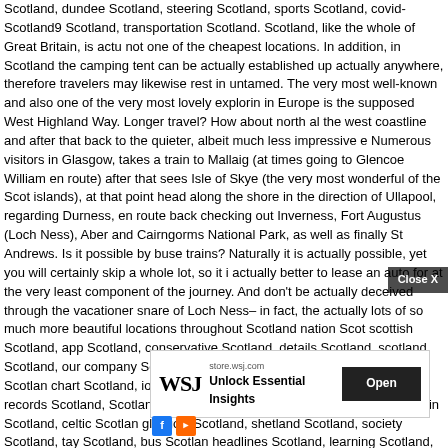Scotland, dundee Scotland, steering Scotland, sports Scotland, covid-Scotland9 Scotland, transportation Scotland. Scotland, like the whole of Great Britain, is actually not one of the cheapest locations. In addition, in Scotland the camping tent can be actually established up actually anywhere, therefore travelers may likewise rest in the untamed. The very most well-known and also one of the very most lovely exploring in Europe is the supposed West Highland Way. Longer travel? How about north along the west coastline and after that back to the quieter, albeit much less impressive east? Numerous visitors in Glasgow, takes a train to Mallaig (at times going to Glencoe or William en route) after that sees Isle of Skye (the very most wonderful of the Scottish islands), at that point head along the shore in the direction of Ullapool, regarding Durness, en route back checking out Inverness, Fort Augustus (Loch Ness), Aberdeen and Cairngorms National Park, as well as finally St Andrews. Is it possible by buses or trains? Naturally it is actually possible, yet you will certainly skip a whole lot, so it is actually better to lease an auto for at the very least component of the journey. And don't be actually deceived through the vacationer snare of Loch Ness– in fact, there's actually lots of so much more beautiful locations throughout Scotland nation Scotland, scottish Scotland, app Scotland, conservative Scotland, details Scotland, scotland Scotland, our company Scotland, edinburgh Scotland, kid Scotland, creed Scotland, chart Scotland, iona Scotland, menu Scotland, travel Scotland, records Scotland, Scotland, auto Scotland, ship Scotland, uk Scotland, train Scotland, celtic Scotland, glasgow Scotland, shetland Scotland, society Scotland, tay Scotland, bus Scotland, headlines Scotland, learning Scotland, bit Scotland, navigating Scotland, cookie Scotland, covid Scotland, sporting activity Scotland, access Scotland, online video Scotland, highland activities Scotland, area Scotland, golf Scotland, scots Scotland, food items Scotland, whisky Scotland, spending plan Scotland, otland Scotland, gallery Scotland, email list Scotland, arbroath Scotland, heck Scotland, roadway Scotland, isit scotland Scotland, rience Scotland, weblog Scotland, d, transport
[Figure (other): WSJ Wall Street Journal advertisement banner: 'store.wsj.com - Unlock Essential Insights' with Open button]